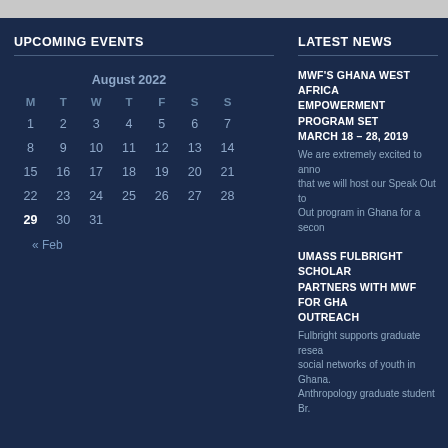UPCOMING EVENTS
| M | T | W | T | F | S | S |
| --- | --- | --- | --- | --- | --- | --- |
| 1 | 2 | 3 | 4 | 5 | 6 | 7 |
| 8 | 9 | 10 | 11 | 12 | 13 | 14 |
| 15 | 16 | 17 | 18 | 19 | 20 | 21 |
| 22 | 23 | 24 | 25 | 26 | 27 | 28 |
| 29 | 30 | 31 |  |  |  |  |
LATEST NEWS
MWF'S GHANA WEST AFRICA EMPOWERMENT PROGRAM SET MARCH 18 – 28, 2019
We are extremely excited to announce that we will host our Speak Out to Out program in Ghana for a second time...
UMASS FULBRIGHT SCHOLAR PARTNERS WITH MWF FOR GHANA OUTREACH
Fulbright supports graduate research on social networks of youth in Ghana. Anthropology graduate student Br...